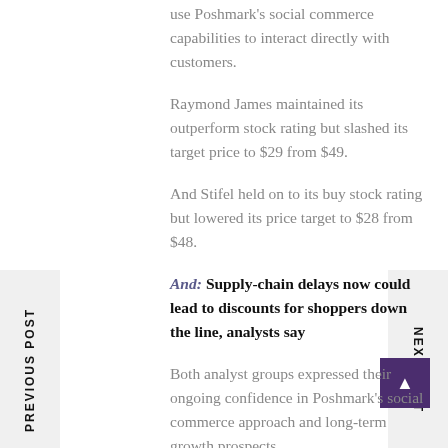use Poshmark's social commerce capabilities to interact directly with customers.
Raymond James maintained its outperform stock rating but slashed its target price to $29 from $49.
And Stifel held on to its buy stock rating but lowered its price target to $28 from $48.
And: Supply-chain delays now could lead to discounts for shoppers down the line, analysts say
Both analyst groups expressed their ongoing confidence in Poshmark's social commerce approach and long-term growth prospects.
“The company’s social features serve as a competitive moat and drive user engagement and conversion,” Stifel wrote